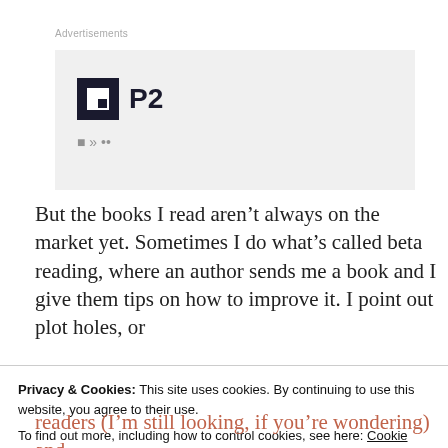[Figure (other): Advertisement block showing a logo with 'P2' text and a partial line of smaller text below, on a light grey background. Labelled 'Advertisements' above.]
But the books I read aren't always on the market yet. Sometimes I do what's called beta reading, where an author sends me a book and I give them tips on how to improve it. I point out plot holes, or
Privacy & Cookies: This site uses cookies. By continuing to use this website, you agree to their use.
To find out more, including how to control cookies, see here: Cookie Policy
readers (I'm still looking, if you're wondering) and